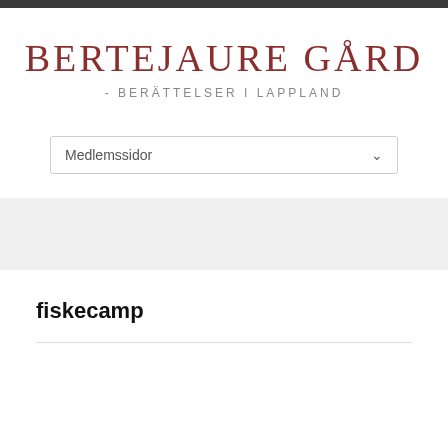BERTEJAURE GÅRD
- BERÄTTELSER I LAPPLAND
Medlemssidor
fiskecamp